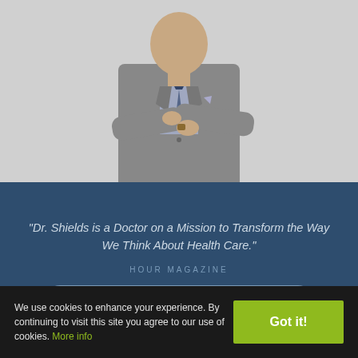[Figure (photo): A doctor in a grey suit with arms crossed, shown from waist up against a light grey background.]
"Dr. Shields is a Doctor on a Mission to Transform the Way We Think About Health Care."
HOUR MAGAZINE
Learn More
We use cookies to enhance your experience. By continuing to visit this site you agree to our use of cookies. More info
Got it!